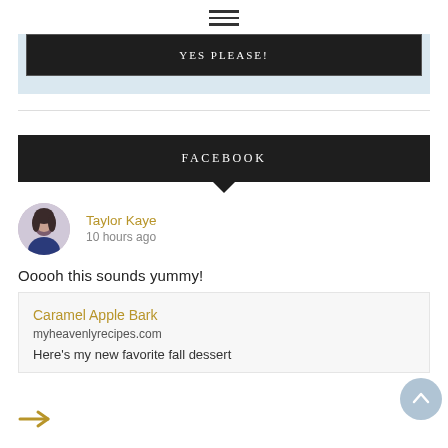[Figure (other): Hamburger menu icon (three horizontal lines)]
[Figure (other): YES PLEASE! button on light blue background (partially visible, cropped at top)]
FACEBOOK
Taylor Kaye
10 hours ago
Ooooh this sounds yummy!
Caramel Apple Bark
myheavenlyrecipes.com
Here's my new favorite fall dessert